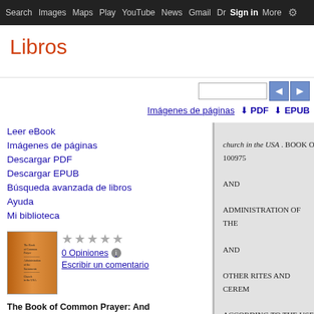Search  Images  Maps  Play  YouTube  News  Gmail  Drive  More  Sign in  ⚙
Libros
Imágenes de páginas  ⬇ PDF  ⬇ EPUB
Leer eBook
Imágenes de páginas
Descargar PDF
Descargar EPUB
Búsqueda avanzada de libros
Ayuda
Mi biblioteca
[Figure (photo): Book cover thumbnail for The Book of Common Prayer]
★★★★★  0 Opiniones  ⓘ  Escribir un comentario
The Book of Common Prayer: And Administration of the Sacraments, and
[Figure (screenshot): Scanned book page showing text: church in the USA. BOOK O... 100975 AND ADMINISTRATION OF THE... AND OTHER RITES AND CEREM... ACCORDING TO THE USE]